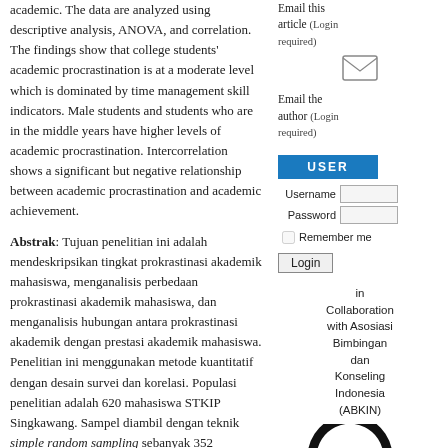academic. The data are analyzed using descriptive analysis, ANOVA, and correlation. The findings show that college students' academic procrastination is at a moderate level which is dominated by time management skill indicators. Male students and students who are in the middle years have higher levels of academic procrastination. Intercorrelation shows a significant but negative relationship between academic procrastination and academic achievement.
Abstrak: Tujuan penelitian ini adalah mendeskripsikan tingkat prokrastinasi akademik mahasiswa, menganalisis perbedaan prokrastinasi akademik mahasiswa, dan menganalisis hubungan antara prokrastinasi akademik dengan prestasi akademik mahasiswa. Penelitian ini menggunakan metode kuantitatif dengan desain survei dan korelasi. Populasi penelitian adalah 620 mahasiswa STKIP Singkawang. Sampel diambil dengan teknik simple random sampling sebanyak 352 mahasiswa (76 laki-laki dan 276 perempuan). Instrumen yang digunakan dalam pengumpulan data adalah skala prokrastinasi akademik dan indeks prestasi akademik. Data dianalisis menggunakan analisis
Email this article (Login required)
[Figure (illustration): Email envelope icon]
Email the author (Login required)
USER
Username
Password
Remember me
Login
in Collaboration with Asosiasi Bimbingan dan Konseling Indonesia (ABKIN)
[Figure (logo): ABKIN logo — black arc with blue and yellow 'abkin' text]